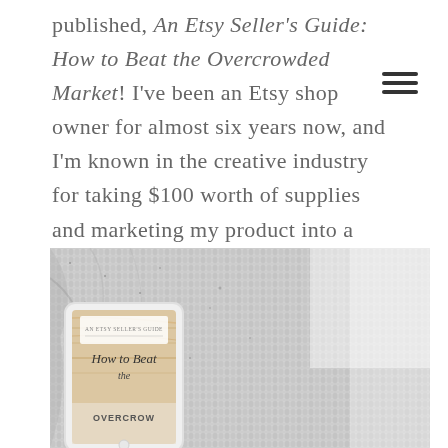published, An Etsy Seller's Guide: How to Beat the Overcrowded Market! I've been an Etsy shop owner for almost six years now, and I'm known in the creative industry for taking $100 worth of supplies and marketing my product into a top-earning storefront.
[Figure (photo): Photo of a grey knitted sweater/scarf fabric with a tablet displaying the cover of 'An Etsy Seller's Guide: How to Beat the Overcrowded Market' resting on top of it.]